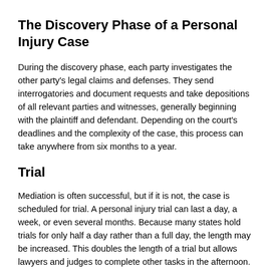The Discovery Phase of a Personal Injury Case
During the discovery phase, each party investigates the other party's legal claims and defenses. They send interrogatories and document requests and take depositions of all relevant parties and witnesses, generally beginning with the plaintiff and defendant. Depending on the court's deadlines and the complexity of the case, this process can take anywhere from six months to a year.
Trial
Mediation is often successful, but if it is not, the case is scheduled for trial. A personal injury trial can last a day, a week, or even several months. Because many states hold trials for only half a day rather than a full day, the length may be increased. This doubles the length of a trial but allows lawyers and judges to complete other tasks in the afternoon.